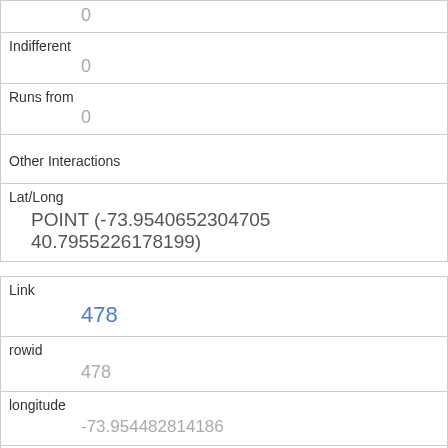|  | 0 |
| Indifferent | 0 |
| Runs from | 0 |
| Other Interactions |  |
| Lat/Long | POINT (-73.9540652304705 40.7955226178199) |
| Link | 478 |
| rowid | 478 |
| longitude | -73.954482814186 |
| latitude | 40.7987031768001 |
| Unique Squirrel ID | 42D-PM-1013-01 |